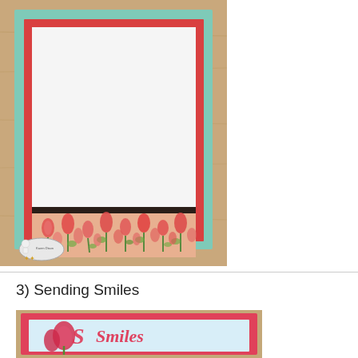[Figure (photo): Handmade greeting card with mint green outer border, red inner mat, white card front, black thin strip, and floral tulip patterned paper at the bottom. A small stamper's logo/label is visible in the bottom left corner. Card is photographed on a wood grain surface.]
3) Sending Smiles
[Figure (photo): Partial view of a handmade card with a pink/coral background, featuring tulip die cuts and script/cursive text that appears to read 'Smiles'. The card has a light blue inner panel.]